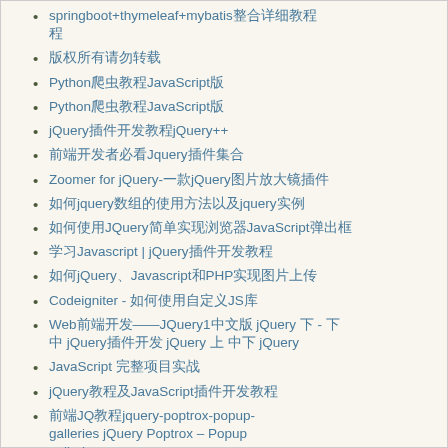springboot+thymeleaf+mybatis整合详细教程
版权所有请勿转载
Python爬虫教程JavaScript版
Python爬虫教程JavaScript版
jQuery插件开发教程jQuery++
前端开发者必看Jquery插件集合
Zoomer for jQuery-一款jQuery图片放大镜插件
如何jquery数组的使用方法以及jquery实例
如何使用JQuery简单实现浏览器JavaScript弹出框
学习Javascript | jQuery插件开发教程
如何jQuery、Javascript和PHP实现图片上传
Codeigniter - 如何使用自定义JS库
Web前端开发——JQuery1中文版 jQuery 下 - 下 中 jQuery插件开发 jQuery 上 中下 jQuery
JavaScript 完整项目实战
jQuery教程及JavaScript插件开发教程
前端JQ教程jquery-poptrox-popup-galleries jQuery Poptrox – Popup galleries